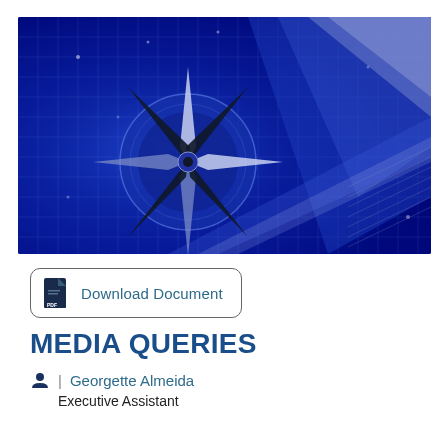[Figure (illustration): Blue-toned abstract illustration featuring a compass rose / NATO star with geometric grid lines and shapes on a dark blue background]
Download Document
MEDIA QUERIES
Georgette Almeida
Executive Assistant